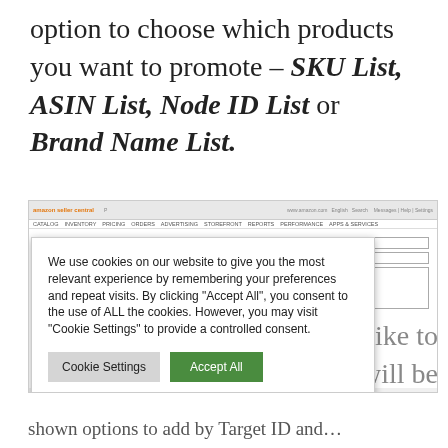option to choose which products you want to promote – SKU List, ASIN List, Node ID List or Brand Name List.
[Figure (screenshot): Amazon Seller Central browser screenshot with a cookie consent modal overlay showing 'We use cookies on our website to give you the most relevant experience by remembering your preferences and repeat visits. By clicking "Accept All", you consent to the use of ALL the cookies. However, you may visit "Cookie Settings" to provide a controlled consent.' with Cookie Settings and Accept All buttons.]
d like to you will be